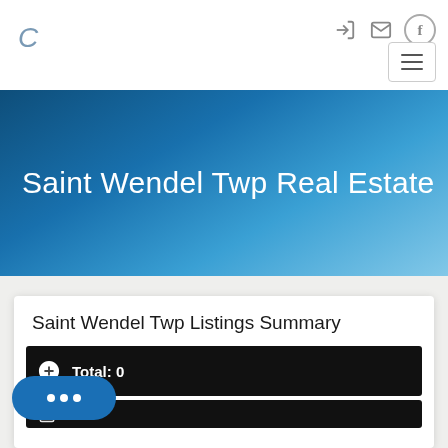C
Saint Wendel Twp Real Estate
Saint Wendel Twp Listings Summary
Total: 0